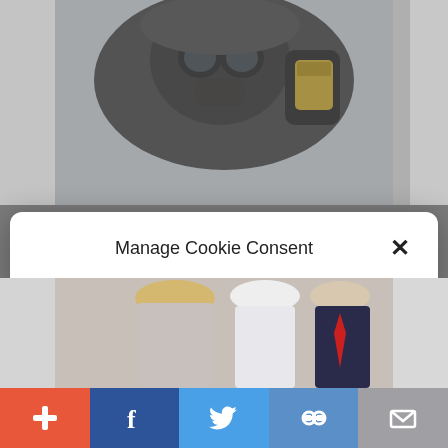[Figure (photo): Person in hazmat suit and gas mask holding a container, with background page visible behind modal]
Manage Cookie Consent
To provide the best experiences, we use technologies like cookies to store and/or access device information. Consenting to these technologies will allow us to process data such as website statistics. Not consenting or withdrawing consent, may adversely affect certain features and functions.
Accept
Cookie Policy  Privacy Policy
[Figure (photo): People in formal attire partially visible at bottom behind modal]
[Figure (screenshot): Social share bar at bottom with plus, Facebook, Twitter, link, and email buttons]